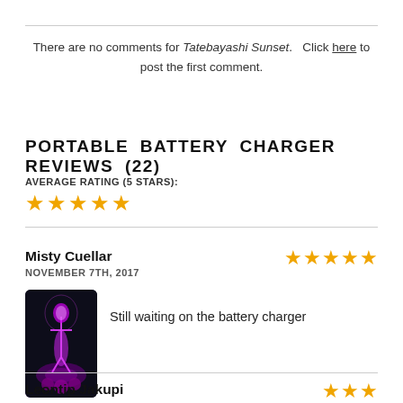There are no comments for Tatebayashi Sunset. Click here to post the first comment.
PORTABLE BATTERY CHARGER REVIEWS (22)
AVERAGE RATING (5 STARS):
[Figure (other): Five gold star rating icons]
Misty Cuellar
NOVEMBER 7TH, 2017
[Figure (other): Five gold star rating icons for reviewer]
[Figure (photo): Product image of portable battery charger with dark purple/magenta glowing skeleton figure design on black background]
Still waiting on the battery charger
Leontip Jakupi